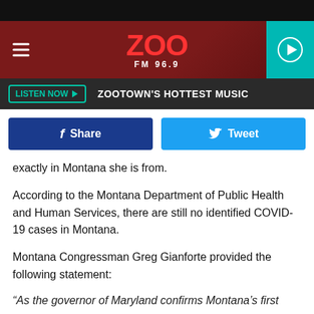[Figure (screenshot): ZOO FM 96.9 radio station website header with logo on dark red background, hamburger menu on left, teal play button on right]
LISTEN NOW ▶   ZOOTOWN'S HOTTEST MUSIC
f Share    🐦 Tweet
exactly in Montana she is from.
According to the Montana Department of Public Health and Human Services, there are still no identified COVID-19 cases in Montana.
Montana Congressman Greg Gianforte provided the following statement:
“As the governor of Maryland confirms Montana’s first case